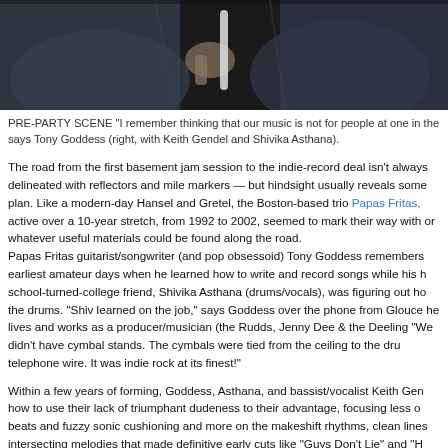[Figure (photo): Black and white photo of musicians, partially cropped at top of page, showing hands and torsos of performers]
PRE-PARTY SCENE “I remember thinking that our music is not for people at one in the says Tony Goddess (right, with Keith Gendel and Shivika Asthana).
The road from the first basement jam session to the indie-record deal isn’t always delineated with reflectors and mile markers — but hindsight usually reveals some plan. Like a modern-day Hansel and Gretel, the Boston-based trio Papas Fritas, active over a 10-year stretch, from 1992 to 2002, seemed to mark their way with or whatever useful materials could be found along the road.
Papas Fritas guitarist/songwriter (and pop obsessoid) Tony Goddess remembers earliest amateur days when he learned how to write and record songs while his h school-turned-college friend, Shivika Asthana (drums/vocals), was figuring out ho the drums. “Shiv learned on the job,” says Goddess over the phone from Glouce he lives and works as a producer/musician (the Rudds, Jenny Dee & the Deeling “We didn’t have cymbal stands. The cymbals were tied from the ceiling to the dru telephone wire. It was indie rock at its finest!”
Within a few years of forming, Goddess, Asthana, and bassist/vocalist Keith Gen how to use their lack of triumphant dudeness to their advantage, focusing less o beats and fuzzy sonic cushioning and more on the makeshift rhythms, clean lines intersecting melodies that made definitive early cuts like “Guys Don’t Lie” and “H Say” so attractive to their Chicago indie label, Minty Fresh. “I remember thinking music is not for people at one in the morning,” says Goddess. “We should be pla malls or teen centers.”